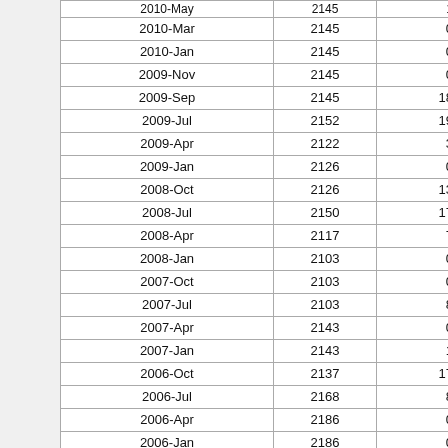| Date | Value1 | Value2 |  |
| --- | --- | --- | --- |
| 2010-Mar | 2145 | 0 |  |
| 2010-Jan | 2145 | 0 |  |
| 2009-Nov | 2145 | 0 |  |
| 2009-Sep | 2145 | 18 |  |
| 2009-Jul | 2152 | 19 |  |
| 2009-Apr | 2122 | 3 |  |
| 2009-Jan | 2126 | 0 |  |
| 2008-Oct | 2126 | 13 |  |
| 2008-Jul | 2150 | 17 |  |
| 2008-Apr | 2117 | 7 |  |
| 2008-Jan | 2103 | 0 |  |
| 2007-Oct | 2103 | 0 |  |
| 2007-Jul | 2103 | 8 |  |
| 2007-Apr | 2143 | 0 |  |
| 2007-Jan | 2143 | 1 |  |
| 2006-Oct | 2137 | 17 |  |
| 2006-Jul | 2168 | 8 |  |
| 2006-Apr | 2186 | 0 |  |
| 2006-Jan | 2186 | 0 |  |
| 2005-Oct | 2186 | 0 |  |
| 2005-Jul | 2186 | 5 |  |
| 2005-Apr | 2191 | 0 |  |
| 2005-Jan | 2191 | 0 |  |